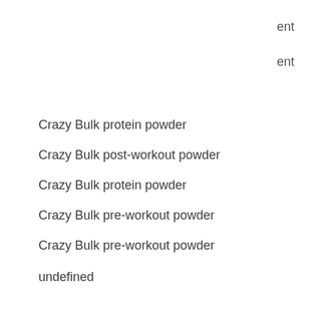ent
ent
Crazy Bulk protein powder
Crazy Bulk post-workout powder
Crazy Bulk protein powder
Crazy Bulk pre-workout powder
Crazy Bulk pre-workout powder
undefined